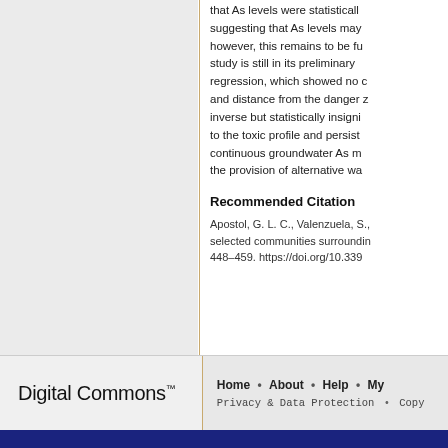that As levels were statistically suggesting that As levels may however, this remains to be fu study is still in its preliminary regression, which showed no c and distance from the danger z inverse but statistically insignif to the toxic profile and persist continuous groundwater As m the provision of alternative wa
Recommended Citation
Apostol, G. L. C., Valenzuela, S., selected communities surroundin 448–459. https://doi.org/10.339
Digital Commons™
Home • About • Help • My Account • Privacy & Data Protection • Copy